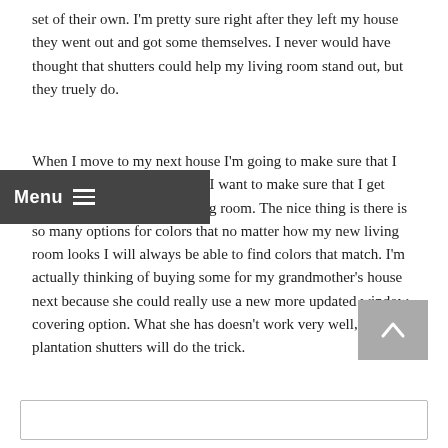set of their own. I'm pretty sure right after they left my house they went out and got some themselves. I never would have thought that shutters could help my living room stand out, but they truely do.
When I move to my next house I'm going to make sure that I purchase another set because I want to make sure that I get ones that match my new living room. The nice thing is there is so many options for colors that no matter how my new living room looks I will always be able to find colors that match. I'm actually thinking of buying some for my grandmother's house next because she could really use a new more updated window covering option. What she has doesn't work very well, but these plantation shutters will do the trick.